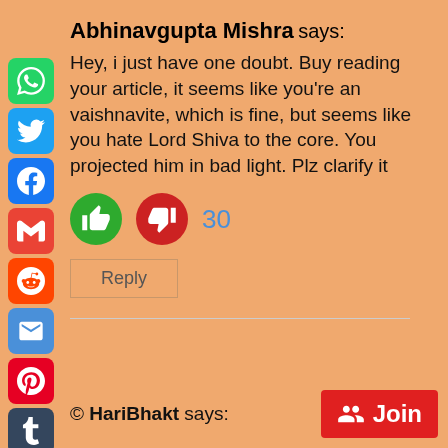Abhinavgupta Mishra says:
Hey, i just have one doubt. Buy reading your article, it seems like you’re an vaishnavite, which is fine, but seems like you hate Lord Shiva to the core. You projected him in bad light. Plz clarify it
30
Reply
© HariBhakt says:
Join